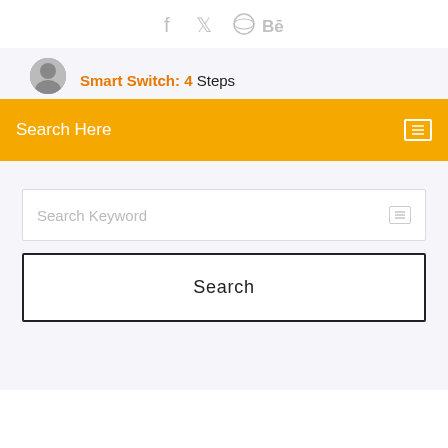[Figure (other): Social media icons: Facebook (f), Twitter bird, Dribbble, Behance (Be)]
Smart Switch: 4 Steps
Search Here
Search Keyword
Search